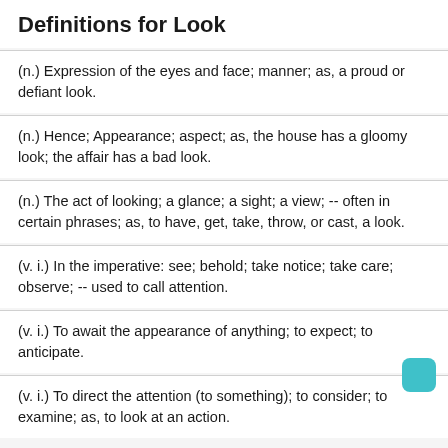Definitions for Look
(n.) Expression of the eyes and face; manner; as, a proud or defiant look.
(n.) Hence; Appearance; aspect; as, the house has a gloomy look; the affair has a bad look.
(n.) The act of looking; a glance; a sight; a view; -- often in certain phrases; as, to have, get, take, throw, or cast, a look.
(v. i.) In the imperative: see; behold; take notice; take care; observe; -- used to call attention.
(v. i.) To await the appearance of anything; to expect; to anticipate.
(v. i.) To direct the attention (to something); to consider; to examine; as, to look at an action.